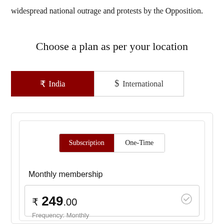widespread national outrage and protests by the Opposition.
Choose a plan as per your location
₹  India
$  International
Subscription  One-Time
Monthly membership
₹ 249.00
Frequency: Monthly